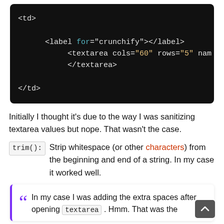[Figure (screenshot): Code block on dark background showing HTML snippet with <td>, <label for="crunchify"></label>, <textarea cols="60" rows="5" nam..., </textarea>, </td> in syntax-highlighted monospace font.]
Initially I thought it’s due to the way I was sanitizing textarea values but nope. That wasn’t the case.
trim(): Strip whitespace (or other characters) from the beginning and end of a string. In my case it worked well.
In my case I was adding the extra spaces after opening textarea . Hmm. That was the